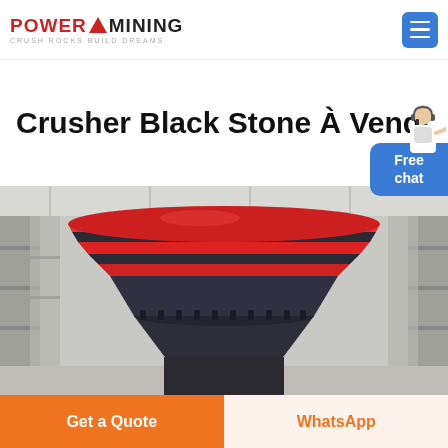POWER MINING — Crush Rocks Build Dreams
Crusher Black Stone À Vendr
[Figure (photo): A large cone crusher head with red and dark grey/black layered mantle rings photographed inside an industrial factory warehouse with steel shelving and skylights in the background.]
Free chat
Get a Quote
WhatsApp